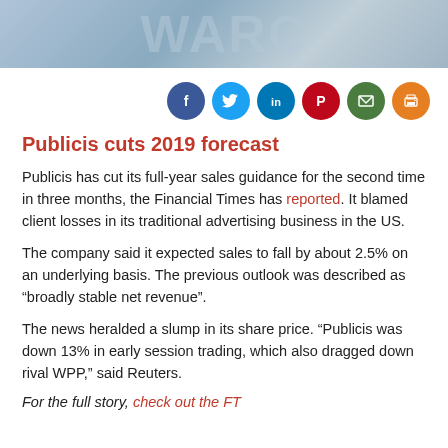[Figure (illustration): Banner image with large faded text, likely a logo or publication name on a blue/grey gradient background]
[Figure (infographic): Row of six social media share icons: Facebook (dark blue), Twitter (light blue), LinkedIn (blue), Pinterest (red), Email (green), Print (orange)]
Publicis cuts 2019 forecast
Publicis has cut its full-year sales guidance for the second time in three months, the Financial Times has reported. It blamed client losses in its traditional advertising business in the US.
The company said it expected sales to fall by about 2.5% on an underlying basis. The previous outlook was described as “broadly stable net revenue”.
The news heralded a slump in its share price. “Publicis was down 13% in early session trading, which also dragged down rival WPP,” said Reuters.
For the full story, check out the FT